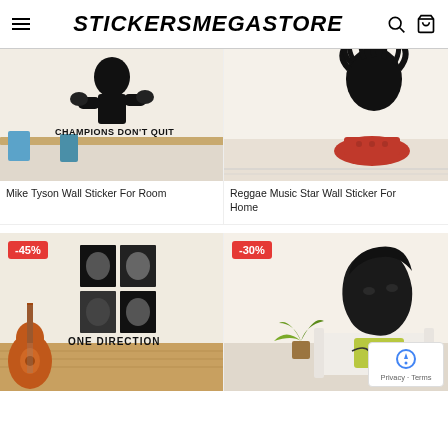STICKERSMEGASTORE
[Figure (photo): Mike Tyson wall sticker showing boxer and text 'CHAMPIONS DON'T QUIT' on wall above desk]
[Figure (photo): Reggae music star (Bob Marley) wall sticker on white wall with red chair]
Mike Tyson Wall Sticker For Room
Reggae Music Star Wall Sticker For Home
[Figure (photo): One Direction band wall sticker showing five faces and 'ONE DIRECTION' text, with guitar in room. -45% discount badge.]
[Figure (photo): Portrait wall sticker of young man (Liam from One Direction) in living room. -30% discount badge.]